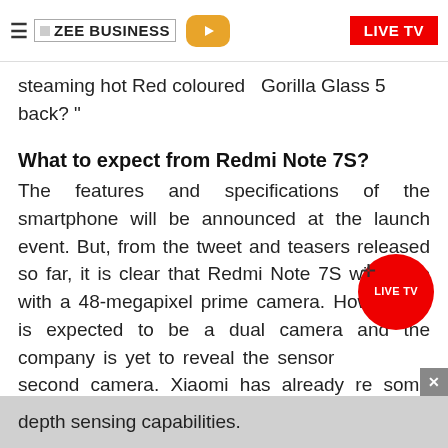ZEE BUSINESS | LIVE TV
steaming hot Red coloured Gorilla Glass 5 back?"
What to expect from Redmi Note 7S?
The features and specifications of the smartphone will be announced at the launch event. But, from the tweet and teasers released so far, it is clear that Redmi Note 7S will come with a 48-megapixel prime camera. However, it is expected to be a dual camera and the company is yet to reveal the sensor of the second camera. Xiaomi has already released some camera samples from Redmi Note 7S. The samples aim to show Note 7S' low-light and depth sensing capabilities.